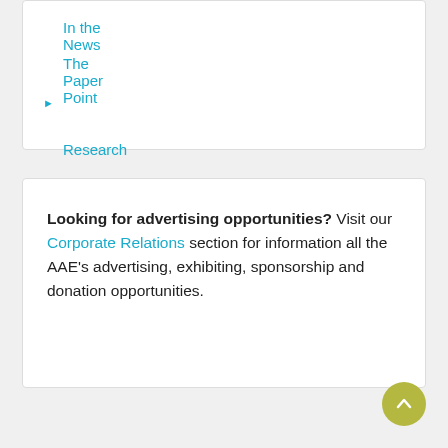In the News
The Paper Point
Research
Looking for advertising opportunities? Visit our Corporate Relations section for information all the AAE's advertising, exhibiting, sponsorship and donation opportunities.